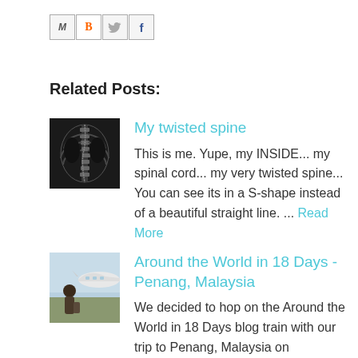[Figure (other): Social share buttons: Email (M), Blogger (B), Twitter (bird icon), Facebook (f)]
Related Posts:
[Figure (photo): X-ray image of a twisted spine (scoliosis), black and white medical radiograph]
My twisted spine
This is me. Yupe, my INSIDE... my spinal cord... my very twisted spine... You can see its in a S-shape instead of a beautiful straight line. ... Read More
[Figure (photo): Photo of a person standing in front of an airplane, travel photo for Penang Malaysia post]
Around the World in 18 Days - Penang, Malaysia
We decided to hop on the Around the World in 18 Days blog train with our trip to Penang, Malaysia on November 2011 which I did not managed